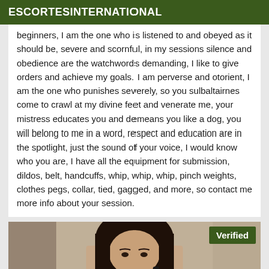ESCORTESINTERNATIONAL
beginners, I am the one who is listened to and obeyed as it should be, severe and scornful, in my sessions silence and obedience are the watchwords demanding, I like to give orders and achieve my goals. I am perverse and otorient, I am the one who punishes severely, so you sulbaltairnes come to crawl at my divine feet and venerate me, your mistress educates you and demeans you like a dog, you will belong to me in a word, respect and education are in the spotlight, just the sound of your voice, I would know who you are, I have all the equipment for submission, dildos, belt, handcuffs, whip, whip, whip, pinch weights, clothes pegs, collar, tied, gagged, and more, so contact me more info about your session.
[Figure (photo): Photo of a person with dark hair, with a 'Verified' badge overlay in the bottom right area of the image block]